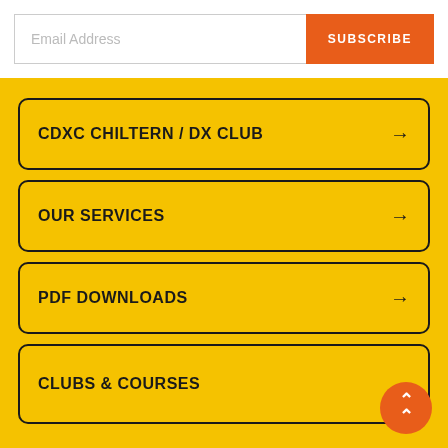Email Address
SUBSCRIBE
CDXC CHILTERN / DX CLUB →
OUR SERVICES →
PDF DOWNLOADS →
CLUBS & COURSES →